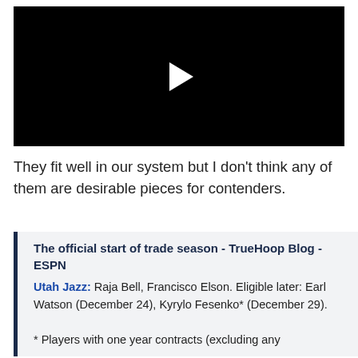[Figure (screenshot): Black video player with white play button triangle in center]
They fit well in our system but I don't think any of them are desirable pieces for contenders.
The official start of trade season - TrueHoop Blog - ESPN
Utah Jazz: Raja Bell, Francisco Elson. Eligible later: Earl Watson (December 24), Kyrylo Fesenko* (December 29).

* Players with one year contracts (excluding any
* Players with one year contracts (excluding any